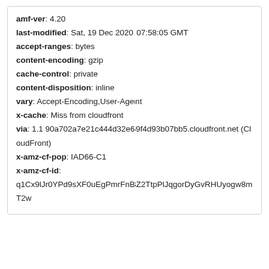amf-ver: 4.20
last-modified: Sat, 19 Dec 2020 07:58:05 GMT
accept-ranges: bytes
content-encoding: gzip
cache-control: private
content-disposition: inline
vary: Accept-Encoding,User-Agent
x-cache: Miss from cloudfront
via: 1.1 90a702a7e21c444d32e69f4d93b07bb5.cloudfront.net (CloudFront)
x-amz-cf-pop: IAD66-C1
x-amz-cf-id: q1Cx9lJr0YPd9sXF0uEgPmrFnBZ2TtpPlJqgorDyGvRHUyogw8mT2w